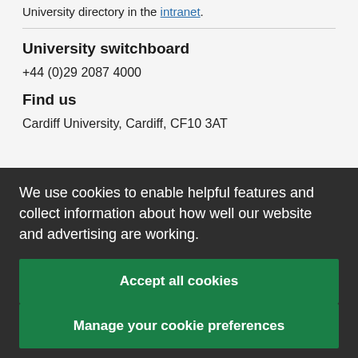University directory in the intranet.
University switchboard
+44 (0)29 2087 4000
Find us
Cardiff University, Cardiff, CF10 3AT
We use cookies to enable helpful features and collect information about how well our website and advertising are working.
Accept all cookies
Manage your cookie preferences